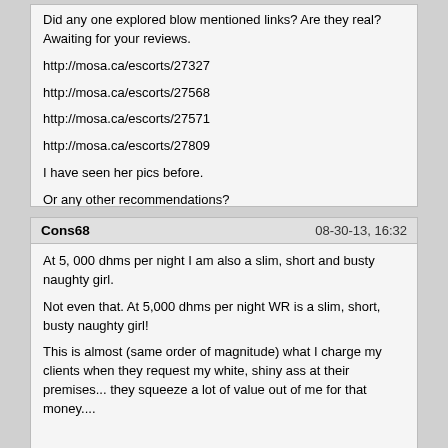Did any one explored blow mentioned links? Are they real? Awaiting for your reviews.

http://mosa.ca/escorts/27327

http://mosa.ca/escorts/27568

http://mosa.ca/escorts/27571

http://mosa.ca/escorts/27809

I have seen her pics before.

Or any other recommendations?
Cons68  08-30-13, 16:32

At 5, 000 dhms per night I am also a slim, short and busty naughty girl.

Not even that. At 5,000 dhms per night WR is a slim, short, busty naughty girl!

This is almost (same order of magnitude) what I charge my clients when they request my white, shiny ass at their premises... they squeeze a lot of value out of me for that money....

Dear Dj,

I have read every single post on this forum talking about online escorts and I read some from other websites. I have never had an exp with them, but I can tell you what I know:

1-Most mongers who tried web based escort said "Fake pics! They ask the girl why the fake pics? Their answer is: to protect themselves and to grab attetions.